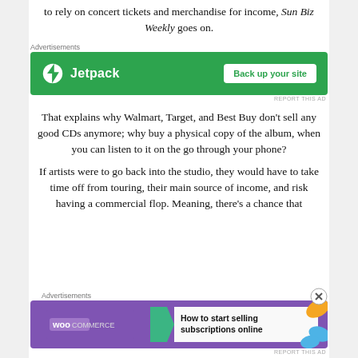to rely on concert tickets and merchandise for income, Sun Biz Weekly goes on.
[Figure (other): Jetpack advertisement banner: green background with Jetpack logo and 'Back up your site' button]
That explains why Walmart, Target, and Best Buy don't sell any good CDs anymore; why buy a physical copy of the album, when you can listen to it on the go through your phone?
If artists were to go back into the studio, they would have to take time off from touring, their main source of income, and risk having a commercial flop. Meaning, there's a chance that
[Figure (other): WooCommerce advertisement banner: purple background with WooCommerce logo and 'How to start selling subscriptions online' text]